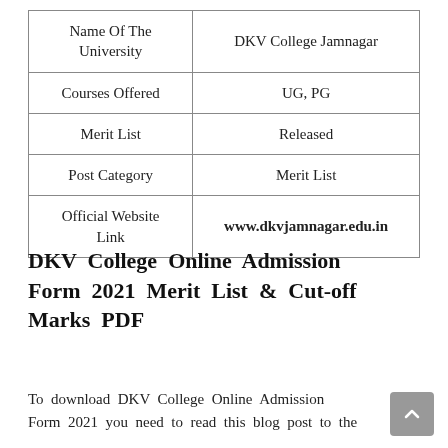| Name Of The University | DKV College Jamnagar |
| --- | --- |
| Courses Offered | UG, PG |
| Merit List | Released |
| Post Category | Merit List |
| Official Website Link | www.dkvjamnagar.edu.in |
DKV College Online Admission Form 2021 Merit List & Cut-off Marks PDF
To download DKV College Online Admission Form 2021 you need to read this blog post to the